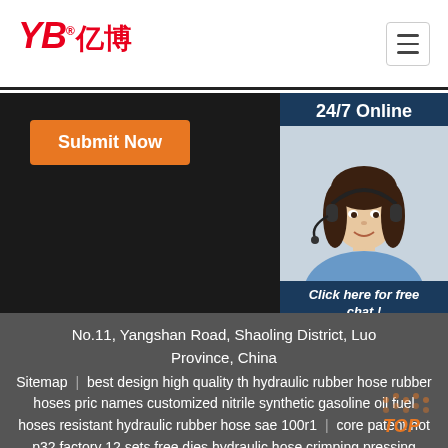[Figure (logo): YB 亿博 company logo in red with registered trademark symbol]
[Figure (other): Hamburger menu icon (three horizontal lines) in a bordered box]
[Figure (other): Dark banner background area]
Submit Now
[Figure (photo): 24/7 Online panel with photo of female customer service agent wearing headset, 'Click here for free chat!' text, and orange QUOTATION button]
No.11, Yangshan Road, Shaoling District, Luoyang Province, China
Sitemap | best design high quality th hydraulic rubber hose rubber hoses pric names customized nitrile synthetic gasoline oil fuel hoses resistant hydraulic rubber hose sae 100r1 | core patent hot p32 factory 12 sets free dies hydraulic hose crimping pressing machine